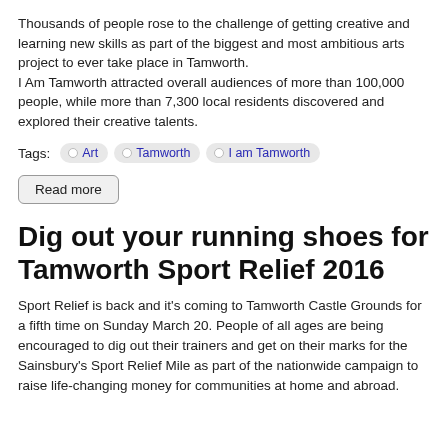Thousands of people rose to the challenge of getting creative and learning new skills as part of the biggest and most ambitious arts project to ever take place in Tamworth. I Am Tamworth attracted overall audiences of more than 100,000 people, while more than 7,300 local residents discovered and explored their creative talents.
Tags: Art  Tamworth  I am Tamworth
Read more
Dig out your running shoes for Tamworth Sport Relief 2016
Sport Relief is back and it's coming to Tamworth Castle Grounds for a fifth time on Sunday March 20. People of all ages are being encouraged to dig out their trainers and get on their marks for the Sainsbury's Sport Relief Mile as part of the nationwide campaign to raise life-changing money for communities at home and abroad.